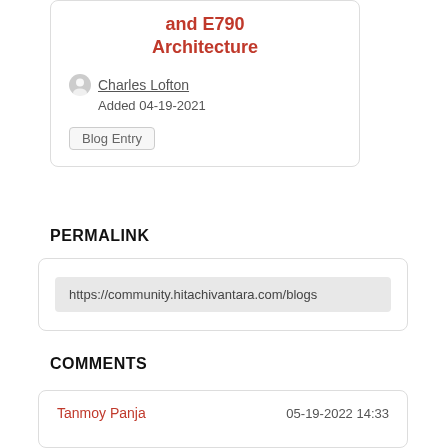and E790 Architecture
Charles Lofton
Added 04-19-2021
Blog Entry
PERMALINK
https://community.hitachivantara.com/blogs
COMMENTS
Tanmoy Panja    05-19-2022 14:33